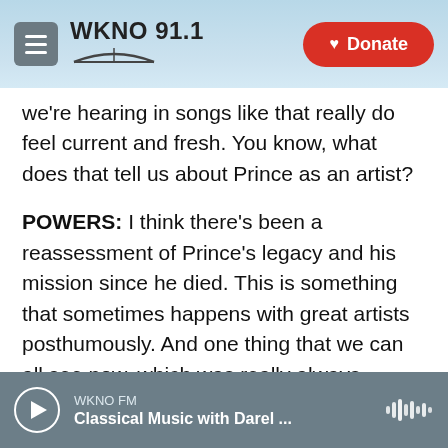WKNO 91.1 | Donate
we're hearing in songs like that really do feel current and fresh. You know, what does that tell us about Prince as an artist?
POWERS: I think there's been a reassessment of Prince's legacy and his mission since he died. This is something that sometimes happens with great artists posthumously. And one thing that we can all see now, which was really always apparent, was his commitment to a political and social vision, truly a utopian vision, you know. But he - this record is full of political commentary, whether it is the title track "Welcome 2 America," which reminds us of
WKNO FM | Classical Music with Darel ...